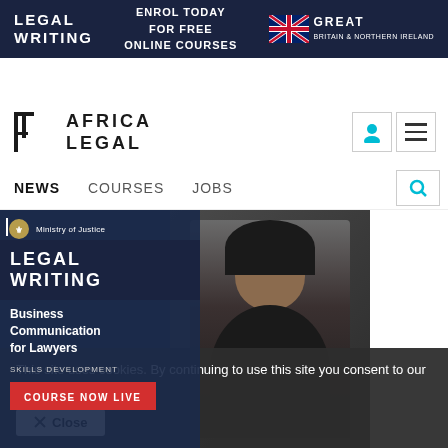[Figure (screenshot): Top dark navy banner with LEGAL WRITING text on left, ENROL TODAY FOR FREE ONLINE COURSES in center, and GREAT Britain & Northern Ireland logo with UK flag on right]
[Figure (logo): Africa Legal logo with stylized AE monogram icon and AFRICA LEGAL text, with user icon and hamburger menu on right]
NEWS   COURSES   JOBS
[Figure (photo): Banner advertisement: Ministry of Justice logo, LEGAL WRITING heading, Business Communication for Lawyers, SKILLS DEVELOPMENT SERIES, COURSE NOW LIVE button, with photo of smiling Black woman in business attire holding glasses]
This site uses cookies. By continuing to use this site you consent to our use of cookies.
✕ Close